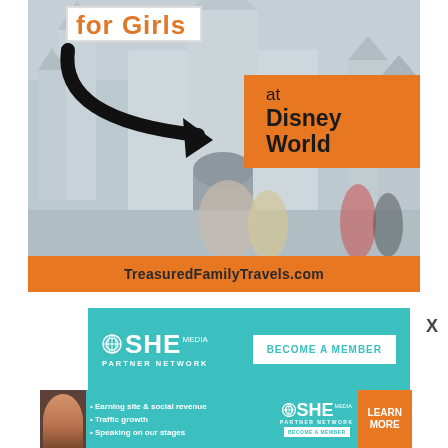[Figure (photo): Promotional image for 'for Girls at Disney World' featuring Cinderella Castle with costumed characters, a large black arrow pointing right, an orange banner reading 'at Disney World', and a website URL bar reading TreasuredFamilyTravels.com]
[Figure (infographic): SHE Media Partner Network banner ad with teal background, SHE logo, and 'BECOME A MEMBER' button]
[Figure (infographic): SHE Media Partner Network bottom banner ad with teal background, person photo, bullet points: Earning site & social revenue, Traffic growth, Speaking on our stages, SHE logo, and LEARN MORE button]